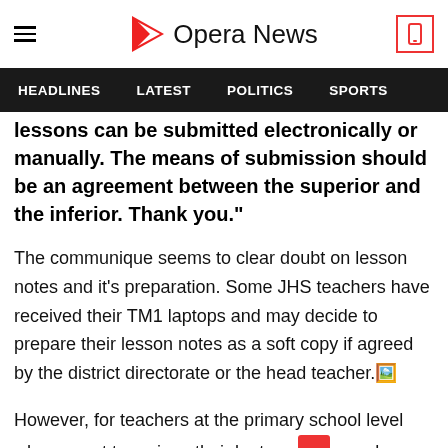Opera News
HEADLINES   LATEST   POLITICS   SPORTS
lessons can be submitted electronically or manually. The means of submission should be an agreement between the superior and the inferior. Thank you."
The communique seems to clear doubt on lesson notes and it's preparation. Some JHS teachers have received their TM1 laptops and may decide to prepare their lesson notes as a soft copy if agreed by the district directorate or the head teacher.
However, for teachers at the primary school level who are yet to recieve their lantons manual lesson notes